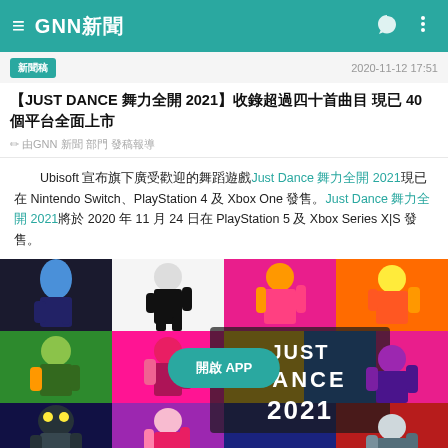GNN新聞
新聞稿
2020-11-12 17:51
【JUST DANCE 舞力全開 2021】收錄超過四十首曲目 現已 40 個平台全面上市
✏ 由GNN 新聞 部門 發稿報導
Ubisoft 宣布旗下廣受歡迎的舞蹈遊戲Just Dance 舞力全開 2021現已在 Nintendo Switch、PlayStation 4 及 Xbox One 發售。Just Dance 舞力全開 2021將於 2020 年 11 月 24 日在 PlayStation 5 及 Xbox Series X|S 發售。
[Figure (photo): Just Dance 2021 game cover artwork showing multiple colorful dancer characters in various poses on a mosaic background with the Just Dance 2021 logo]